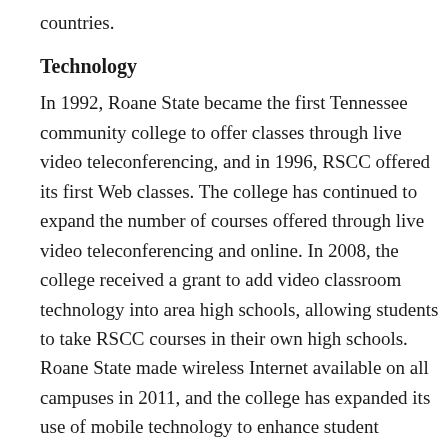countries.
Technology
In 1992, Roane State became the first Tennessee community college to offer classes through live video teleconferencing, and in 1996, RSCC offered its first Web classes. The college has continued to expand the number of courses offered through live video teleconferencing and online. In 2008, the college received a grant to add video classroom technology into area high schools, allowing students to take RSCC courses in their own high schools. Roane State made wireless Internet available on all campuses in 2011, and the college has expanded its use of mobile technology to enhance student learning. Roane State created its first mobile app in March 2013.
Grant Funding